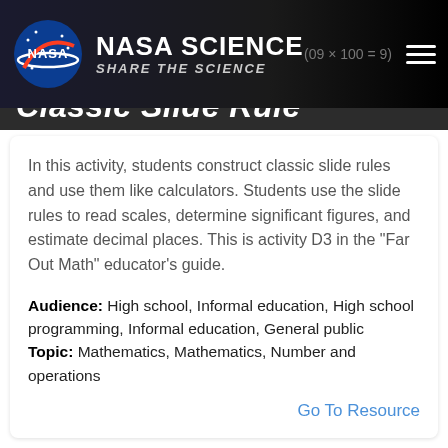NASA SCIENCE | SHARE THE SCIENCE
Classic Slide Rule
In this activity, students construct classic slide rules and use them like calculators. Students use the slide rules to read scales, determine significant figures, and estimate decimal places. This is activity D3 in the "Far Out Math" educator's guide.
Audience: High school, Informal education, High school programming, Informal education, General public
Topic: Mathematics, Mathematics, Number and operations
Go To Resource